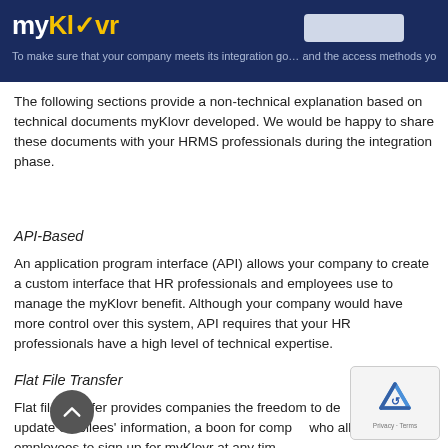myKlovr — To make sure that your company meets its integration goals, and the access methods you can use for your HRMS.
The following sections provide a non-technical explanation based on technical documents myKlovr developed. We would be happy to share these documents with your HRMS professionals during the integration phase.
API-Based
An application program interface (API) allows your company to create a custom interface that HR professionals and employees use to manage the myKlovr benefit. Although your company would have more control over this system, API requires that your HR professionals have a high level of technical expertise.
Flat File Transfer
Flat file transfer provides companies the freedom to decide when to update enrollees' information, a boon for companies who allow employees to sign up for myKlovr at any tim